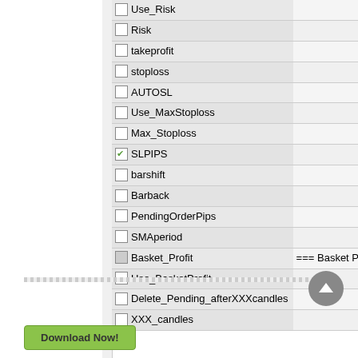|  | Parameter | Value |
| --- | --- | --- |
| ☐ | Use_Risk | false |
| ☐ | Risk | 5 |
| ☐ | takeprofit | 0 |
| ☐ | stoploss | 0 |
| ☐ | AUTOSL | true |
| ☐ | Use_MaxStoploss | false |
| ☐ | Max_Stoploss | 100 |
| ☑ | SLPIPS | 7 |
| ☐ | barshift | 17 |
| ☐ | Barback | 15 |
| ☐ | PendingOrderPips | 1 |
| ☐ | SMAperiod | 70 |
| ◻ | Basket_Profit | === Basket Profit Clo |
| ☐ | Use_BasketProfit | true |
| ☐ | Delete_Pending_afterXXXcandles | true |
| ☐ | XXX_candles | 1 |
Download Now!